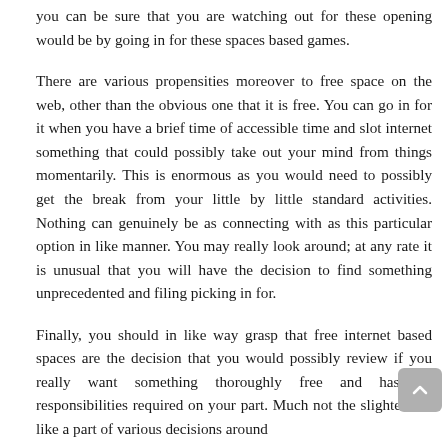you can be sure that you are watching out for these opening would be by going in for these spaces based games.
There are various propensities moreover to free space on the web, other than the obvious one that it is free. You can go in for it when you have a brief time of accessible time and slot internet something that could possibly take out your mind from things momentarily. This is enormous as you would need to possibly get the break from your little by little standard activities. Nothing can genuinely be as connecting with as this particular option in like manner. You may really look around; at any rate it is unusual that you will have the decision to find something unprecedented and filing picking in for.
Finally, you should in like way grasp that free internet based spaces are the decision that you would possibly review if you really want something thoroughly free and has no responsibilities required on your part. Much not the slightest bit like a part of various decisions around